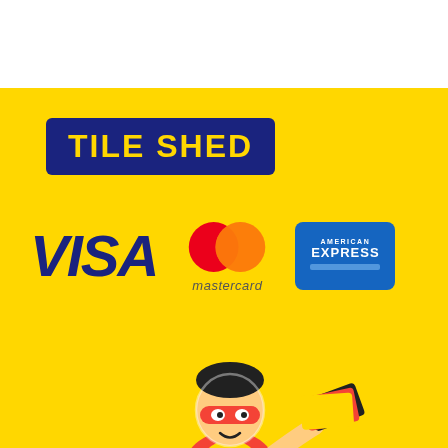[Figure (logo): Tile Shed logo — bold yellow text on dark blue rectangle background]
[Figure (illustration): Payment method logos: VISA (blue italic bold), Mastercard (overlapping red and orange circles with mastercard text), American Express (blue rectangle with AMERICAN EXPRESS text)]
[Figure (illustration): Cartoon superhero mascot character holding credit cards, wearing red cape and mask, yellow suit with TS initials, on yellow background]